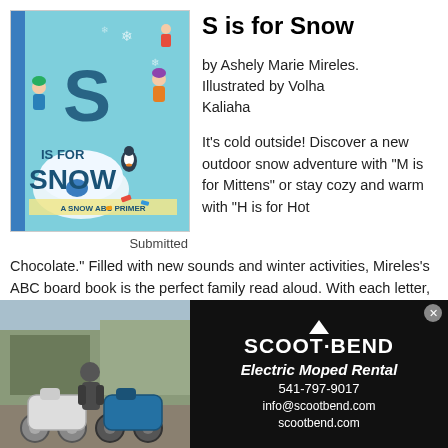[Figure (illustration): Book cover for 'S is for Snow: A Snow ABC Primer' showing children playing in snow, an igloo, a large letter S, and winter scenes on a teal background]
Submitted
S is for Snow
by Ashely Marie Mireles. Illustrated by Volha Kaliaha
It's cold outside! Discover a new outdoor snow adventure with "M is for Mittens" or stay cozy and warm with "H is for Hot Chocolate." Filled with new sounds and winter activities, Mireles's ABC board book is the perfect family read aloud. With each letter, create your own story time. Did you find the smiling polar bear or see a child sledding? Kaliaha's joyful illustrations are filled with movement and bright colors. What winter
[Figure (photo): Advertisement photo showing two electric mopeds parked outside with a person standing nearby]
SCOOT·BEND
Electric Moped Rental
541-797-9017
info@scootbend.com
scootbend.com